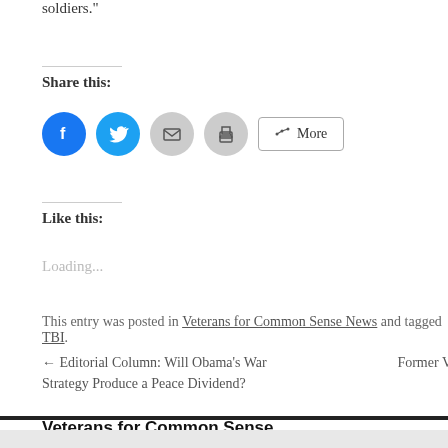soldiers."
Share this:
[Figure (infographic): Social share buttons: Facebook (blue circle), Twitter (light blue circle), Email (grey circle), Print (grey circle), More button]
Like this:
Loading...
This entry was posted in Veterans for Common Sense News and tagged TBI.
← Editorial Column: Will Obama's War Strategy Produce a Peace Dividend?
Former V
Veterans for Common Sense